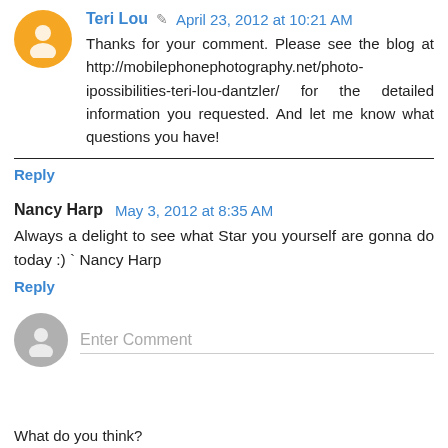Teri Lou · April 23, 2012 at 10:21 AM — Thanks for your comment. Please see the blog at http://mobilephonephotography.net/photo-ipossibilities-teri-lou-dantzler/ for the detailed information you requested. And let me know what questions you have!
Reply
Nancy Harp — May 3, 2012 at 8:35 AM — Always a delight to see what Star you yourself are gonna do today :) ` Nancy Harp
Reply
Enter Comment
What do you think?